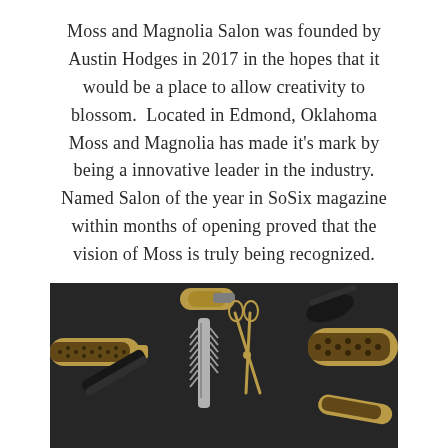Moss and Magnolia Salon was founded by Austin Hodges in 2017 in the hopes that it would be a place to allow creativity to blossom.  Located in Edmond, Oklahoma Moss and Magnolia has made it's mark by being a innovative leader in the industry. Named Salon of the year in SoSix magazine within months of opening proved that the vision of Moss is truly being recognized.
[Figure (photo): Flat lay of gold and black salon hair tools on a dark background: round brushes, combs, scissors, a blow dryer, and other styling tools arranged decoratively.]